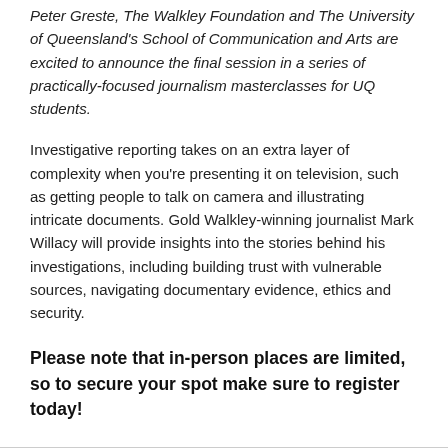Peter Greste, The Walkley Foundation and The University of Queensland's School of Communication and Arts are excited to announce the final session in a series of practically-focused journalism masterclasses for UQ students.
Investigative reporting takes on an extra layer of complexity when you're presenting it on television, such as getting people to talk on camera and illustrating intricate documents. Gold Walkley-winning journalist Mark Willacy will provide insights into the stories behind his investigations, including building trust with vulnerable sources, navigating documentary evidence, ethics and security.
Please note that in-person places are limited, so to secure your spot make sure to register today!